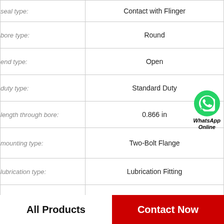| Property | Value |
| --- | --- |
| seal type: | Contact with Flinger |
| bore type: | Round |
| end type: | Open |
| duty type: | Standard Duty |
| length through bore: | 0.866 in |
| mounting type: | Two-Bolt Flange |
| lubrication type: | Lubrication Fitting |
| housing material: | PBT Thermoplastic |
| series: | MUCNFL200CW |
[Figure (logo): WhatsApp Online green circle phone icon with text 'WhatsApp Online' in bold italic]
All Products
Contact Now